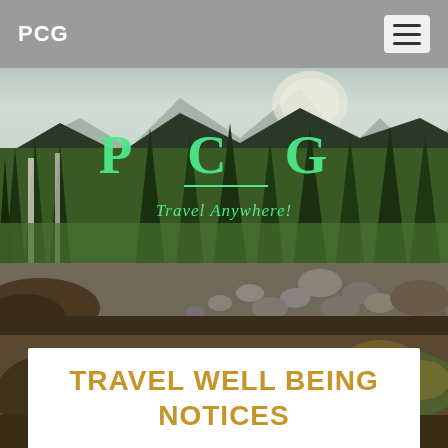PCG
[Figure (photo): Forest landscape with tall evergreen trees, rocky riverbed in foreground, mountains in background. Overlaid with large green 'P C G' text and tagline 'Travel Anywhere!']
TRAVEL WELL BEING NOTICES